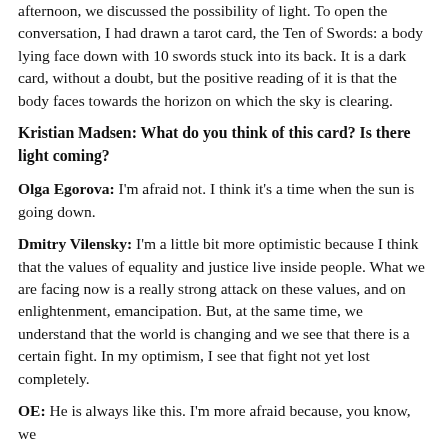afternoon, we discussed the possibility of light. To open the conversation, I had drawn a tarot card, the Ten of Swords: a body lying face down with 10 swords stuck into its back. It is a dark card, without a doubt, but the positive reading of it is that the body faces towards the horizon on which the sky is clearing.
Kristian Madsen: What do you think of this card? Is there light coming?
Olga Egorova: I'm afraid not. I think it's a time when the sun is going down.
Dmitry Vilensky: I'm a little bit more optimistic because I think that the values of equality and justice live inside people. What we are facing now is a really strong attack on these values, and on enlightenment, emancipation. But, at the same time, we understand that the world is changing and we see that there is a certain fight. In my optimism, I see that fight not yet lost completely.
OE: He is always like this. I'm more afraid because, you know, we are...